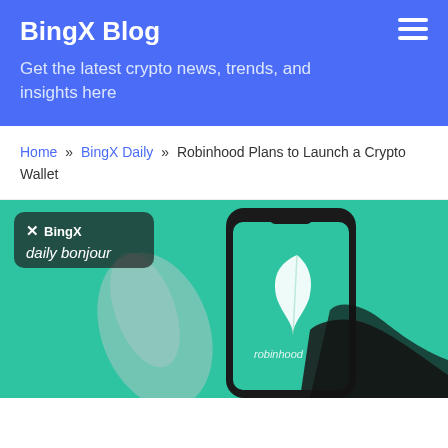BingX Blog
Get the latest crypto news, trends, and insights here
Home » BingX Daily » Robinhood Plans to Launch a Crypto Wallet
[Figure (photo): BingX daily bonjour branded image showing a hand holding a phone with the Robinhood app logo on a green background]